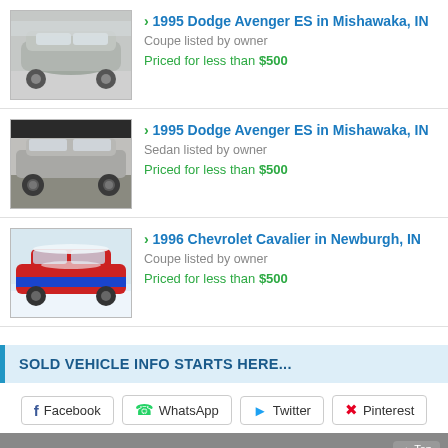[Figure (photo): Front view of a silver 1995 Dodge Avenger ES coupe]
1995 Dodge Avenger ES in Mishawaka, IN
Coupe listed by owner
Priced for less than $500
[Figure (photo): Side view of a silver 1995 Dodge Avenger ES sedan]
1995 Dodge Avenger ES in Mishawaka, IN
Sedan listed by owner
Priced for less than $500
[Figure (photo): Side view of a red and blue 1996 Chevrolet Cavalier coupe covered in snow]
1996 Chevrolet Cavalier in Newburgh, IN
Coupe listed by owner
Priced for less than $500
SOLD VEHICLE INFO STARTS HERE...
Facebook  WhatsApp  Twitter  Pinterest